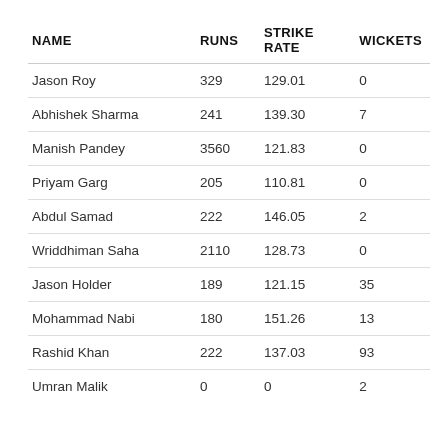| NAME | RUNS | STRIKE RATE | WICKETS |
| --- | --- | --- | --- |
| Jason Roy | 329 | 129.01 | 0 |
| Abhishek Sharma | 241 | 139.30 | 7 |
| Manish Pandey | 3560 | 121.83 | 0 |
| Priyam Garg | 205 | 110.81 | 0 |
| Abdul Samad | 222 | 146.05 | 2 |
| Wriddhiman Saha | 2110 | 128.73 | 0 |
| Jason Holder | 189 | 121.15 | 35 |
| Mohammad Nabi | 180 | 151.26 | 13 |
| Rashid Khan | 222 | 137.03 | 93 |
| Umran Malik | 0 | 0 | 2 |